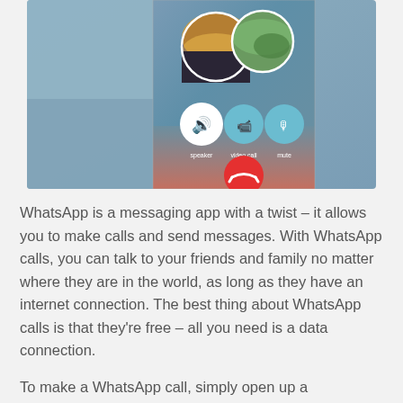[Figure (screenshot): WhatsApp call screen shown on a smartphone. The screen shows a video call interface with two circular profile photos at the top (one showing a sunset/sky, another showing a green/nature scene), three control buttons in the middle (white speaker button, blue video call button, blue mute button with labels 'speaker', 'video call', 'mute'), and a red end-call button at the bottom. The background is a blurred teal/blue gradient.]
WhatsApp is a messaging app with a twist – it allows you to make calls and send messages. With WhatsApp calls, you can talk to your friends and family no matter where they are in the world, as long as they have an internet connection. The best thing about WhatsApp calls is that they're free – all you need is a data connection.
To make a WhatsApp call, simply open up a